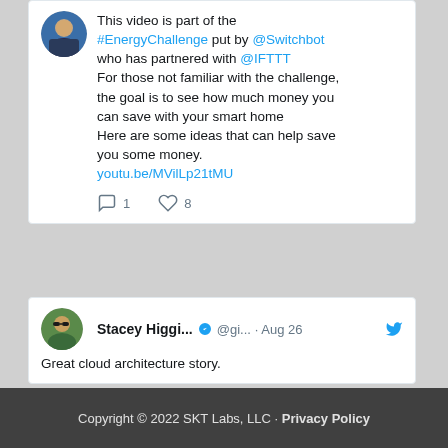This video is part of the #EnergyChallenge put by @Switchbot who has partnered with @IFTTT For those not familiar with the challenge, the goal is to see how much money you can save with your smart home Here are some ideas that can help save you some money. youtu.be/MVilLp21tMU
Stacey Higgi... @gi... · Aug 26 Great cloud architecture story.
Copyright © 2022 SKT Labs, LLC · Privacy Policy